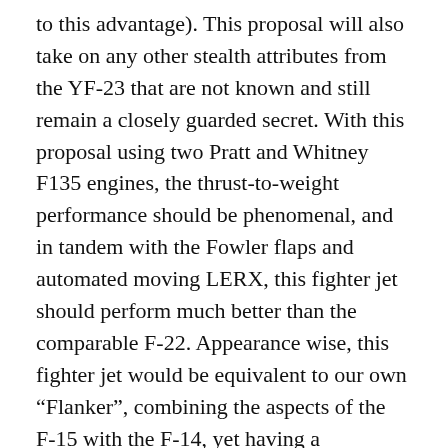to this advantage). This proposal will also take on any other stealth attributes from the YF-23 that are not known and still remain a closely guarded secret. With this proposal using two Pratt and Whitney F135 engines, the thrust-to-weight performance should be phenomenal, and in tandem with the Fowler flaps and automated moving LERX, this fighter jet should perform much better than the comparable F-22. Appearance wise, this fighter jet would be equivalent to our own “Flanker”, combining the aspects of the F-15 with the F-14, yet having a resemblance, perhaps, to the Russian PAK FA T-50, with the YF-23 elements in it’s design. Even so, this product will be immensely superior to what the F-22 was able to offer our military.
To further capitalize on this proposal, we can truly design it for both the Air Force, Navy, and Marine